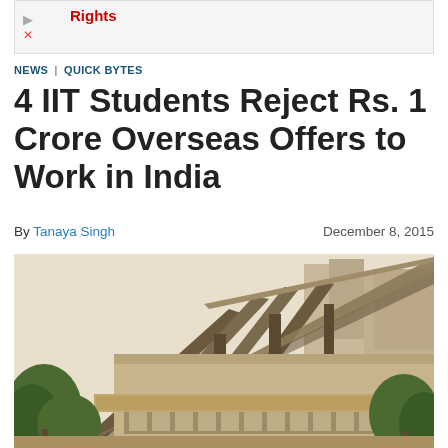[Figure (other): Advertisement banner with play icon and close button, showing partial red text 'Rights']
NEWS | QUICK BYTES
4 IIT Students Reject Rs. 1 Crore Overseas Offers to Work in India
By Tanaya Singh    December 8, 2015
[Figure (photo): Photograph of an IIT campus building with distinctive angular roof/canopy architecture, trees in foreground, cream/tan colored building structures in background, overcast sky]